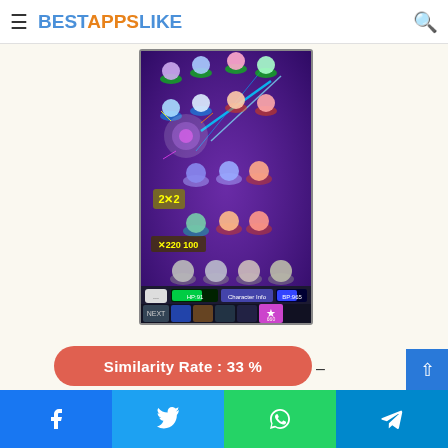BESTAPPSLIKE
[Figure (screenshot): Mobile game screenshot showing a battle scene with anime-style characters arranged in rows on a purple/dark background with glowing effects, HP/MP bars, and skill icons at the bottom]
Similarity Rate : 33 %
–
Similar Apps
Facebook  Twitter  WhatsApp  Telegram